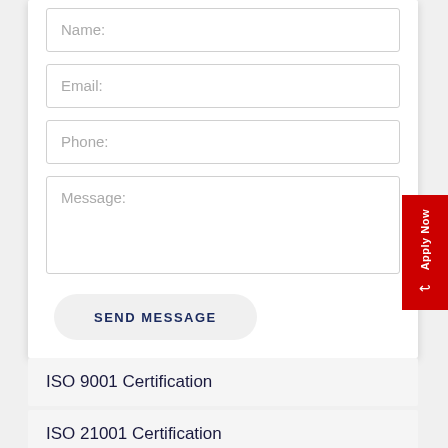Name:
Email:
Phone:
Message:
SEND MESSAGE
Apply Now
ISO 9001 Certification
ISO 21001 Certification